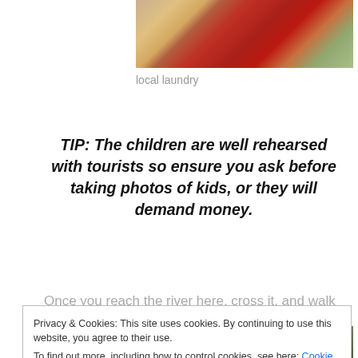[Figure (photo): Partial photo of a red bucket, likely local laundry scene, top portion visible]
local laundry
TIP: The children are well rehearsed with tourists so ensure you ask before taking photos of kids, or they will demand money.
Once you reach the river here, cross it, and walk up the
Privacy & Cookies: This site uses cookies. By continuing to use this website, you agree to their use.
To find out more, including how to control cookies, see here: Cookie Policy
Close and accept
[Figure (photo): Partial photo at bottom of page, partially cut off, showing a natural scene]